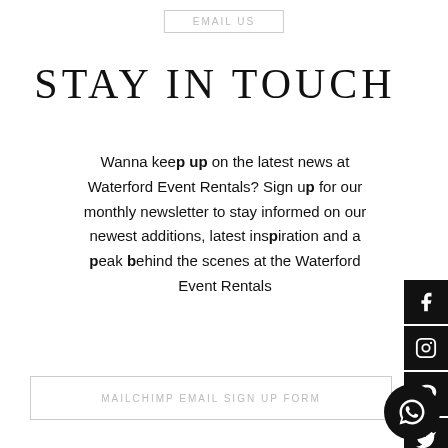EMAIL US
STAY IN TOUCH
Wanna keep up on the latest news at Waterford Event Rentals? Sign up for our monthly newsletter to stay informed on our newest additions, latest inspiration and a peak behind the scenes at the Waterford Event Rentals
[Figure (infographic): Social media icons (Facebook, Instagram, Pinterest, Twitter, TikTok) as black square buttons on the right side]
MAILCHIMP EMAIL SIGN UP FORM